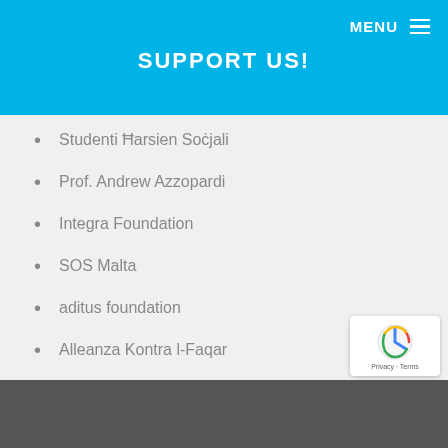MENU
SUPPORT US!
Studenti Ħarsien Soċjali
Prof. Andrew Azzopardi
Integra Foundation
SOS Malta
aditus foundation
Alleanza Kontra l-Faqar
Office of the Dean of the Faculty of Education
[Figure (photo): Photo strip at bottom of page]